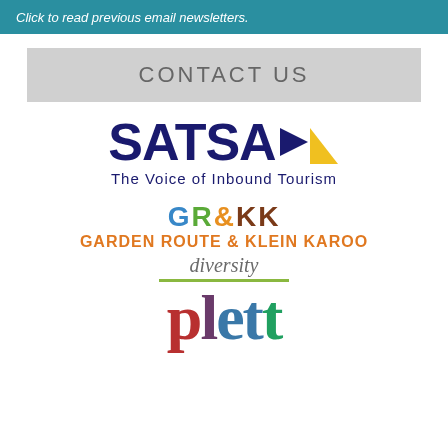Click to read previous email newsletters.
CONTACT US
[Figure (logo): SATSA logo - The Voice of Inbound Tourism]
[Figure (logo): Garden Route & Klein Karoo logo with diversity tagline]
[Figure (logo): Plett tourism logo in colorful letters]